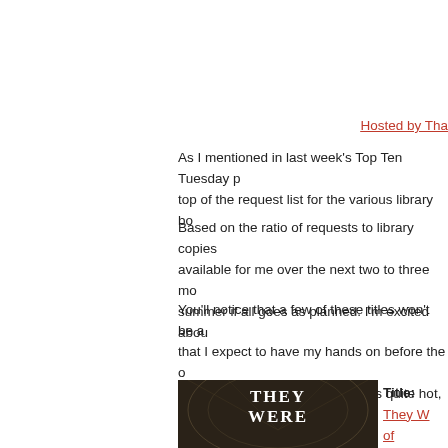Hosted by Tha
As I mentioned in last week's Top Ten Tuesday post, top of the request list for the various library bo
Based on the ratio of requests to library copies available for me over the next two to three months, summer if all goes as planned. I'm excited abou
You'll notice that a few of these titles won't be a that I expect to have my hands on before the oh southern Ontario typically remains quite hot, hu October.
[Figure (photo): Book cover of 'They Were' with ornate ceiling architectural background]
Title: They W of American

I hope to ha